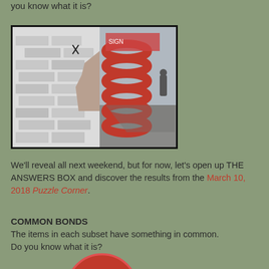you know what it is?
[Figure (photo): Photo of a white brick wall on the left side and a large red coiled spring/sculpture partially visible on the right, with a street scene in the background.]
We'll reveal all next weekend, but for now, let's open up THE ANSWERS BOX and discover the results from the March 10, 2018 Puzzle Corner.
COMMON BONDS
The items in each subset have something in common. Do you know what it is?
[Figure (illustration): Partial view of a large red and white circular donut/ring shape, cropped at the bottom of the page.]